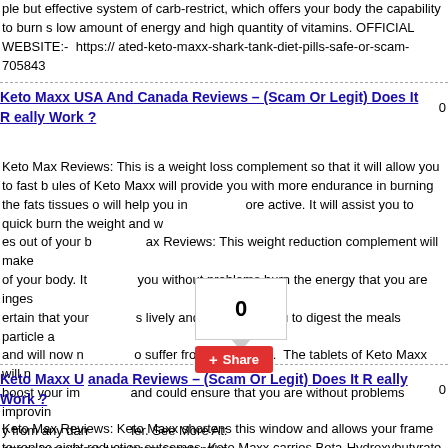ple but effective system of carb-restrict, which offers your body the capability to burn s low amount of energy and high quantity of vitamins. OFFICIAL WEBSITE:-  https:// ated-keto-maxx-shark-tank-diet-pills-safe-or-scam-705843
Keto Maxx USA And Canada Reviews – (Scam Or Legit) Does It Really Work ?
Keto Max Reviews: This is a weight loss complement so that it will allow you to fast b ules of Keto Maxx will provide you with more endurance in burning the fats tissues o will help you in ore active. It will assist you to quick burn the weight and w es out of your b ax Reviews: This weight reduction complement will make of your body. It you without problems burn the energy that you are inges ertain that your s lively and is allowing you to digest the meals particle a and will now no o suffer from indigestion. The tablets of Keto Maxx will n boost your imm and could ensure that you are without problems improvin y from any dan ler. See More At: https://www.jpost.com/promocontent/ke pills-safe-or-sc
[Figure (other): Social share counter box showing 0]
Keto Maxx U anada Reviews – (Scam Or Legit) Does It Really Work ?
Keto Max Reviews: Keto Maxx shortens this window and allows your frame to replac eight reduction outcomes. Keto Maxx carries Beta-Hydroxybutyrate Salts. The full sp nctionalities when it's miles inside the manner of switching to ketosis. There are 3 BH BHB magnesium, BHB calcium and BHB sodium. Keto Maxx makes use of all natur now not need to fear approximately any terrible facet results. Keto Maxx by supportin an system enables your frame to switch to ketosis quicker. When you're on a keto we he regular carbs that you commonly take. In the absence of carbs your body feels wo eto Maxx make sure that those outcomes aren't skilled with the aid of your frame. Th triggers the herbal ketosis system and thereby helps your frame to begin burning the ww.jpost.com/promocontent/keto-max-reviews-updated-keto-maxx-shark-tank-diet-pi